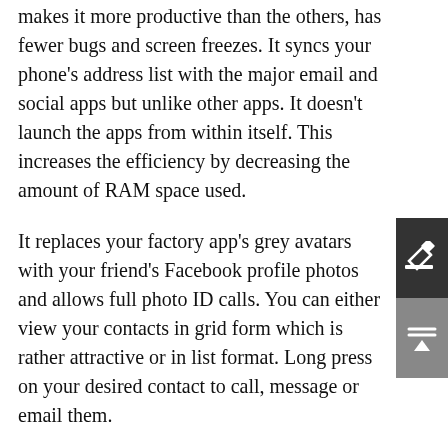makes it more productive than the others, has fewer bugs and screen freezes. It syncs your phone's address list with the major email and social apps but unlike other apps. It doesn't launch the apps from within itself. This increases the efficiency by decreasing the amount of RAM space used.
It replaces your factory app's grey avatars with your friend's Facebook profile photos and allows full photo ID calls. You can either view your contacts in grid form which is rather attractive or in list format. Long press on your desired contact to call, message or email them.
1) Simpler Contacts Pro - $2.99
This is probably the most popular contact app for iPhone. Reason being its simplicity (since our main aim was to substitute the factory dialer and not